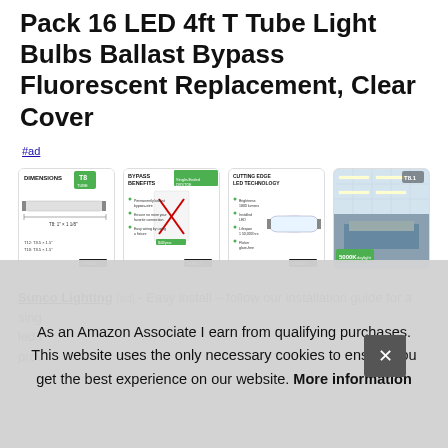Pack 16 LED 4ft T Tube Light Bulbs Ballast Bypass Fluorescent Replacement, Clear Cover
#ad
[Figure (photo): Four product images in a row: 1) T8 tube dimensions diagram, 2) Bypass Benefits infographic with green header, 3) Cutting Edge LED Technology diagram with tube photo, 4) Photo of installed lights in office ceiling]
Sunco Lighting [ad] - Easy install – follow our installation guide for a ... single ... led t... prov...
As an Amazon Associate I earn from qualifying purchases. This website uses the only necessary cookies to ensure you get the best experience on our website. More information